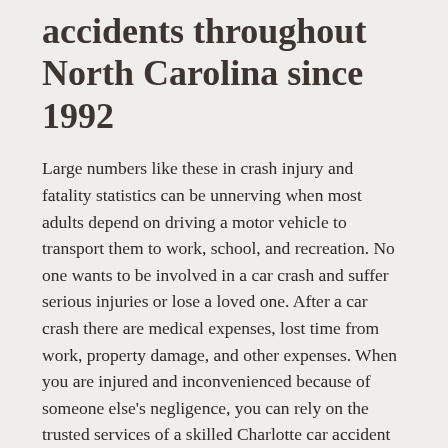accidents throughout North Carolina since 1992
Large numbers like these in crash injury and fatality statistics can be unnerving when most adults depend on driving a motor vehicle to transport them to work, school, and recreation. No one wants to be involved in a car crash and suffer serious injuries or lose a loved one. After a car crash there are medical expenses, lost time from work, property damage, and other expenses. When you are injured and inconvenienced because of someone else's negligence, you can rely on the trusted services of a skilled Charlotte car accident attorney from Warren & Kallianos, PLLC to represent your interests.
The dedicated Charlotte car accident lawyers at Warren & Kallianos, PLLC, have spent years helping people recover maximum compensation after all types of car accidents. Throughout our extensive legal careers, our